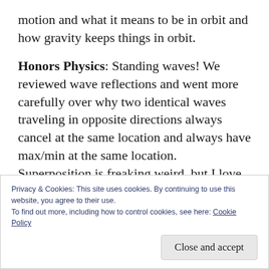motion and what it means to be in orbit and how gravity keeps things in orbit.
Honors Physics: Standing waves! We reviewed wave reflections and went more carefully over why two identical waves traveling in opposite directions always cancel at the same location and always have max/min at the same location. Superposition is freaking weird, but I love it. We just barely barely got started on the mathematics of standing waves, looking at
Privacy & Cookies: This site uses cookies. By continuing to use this website, you agree to their use.
To find out more, including how to control cookies, see here: Cookie Policy
Close and accept